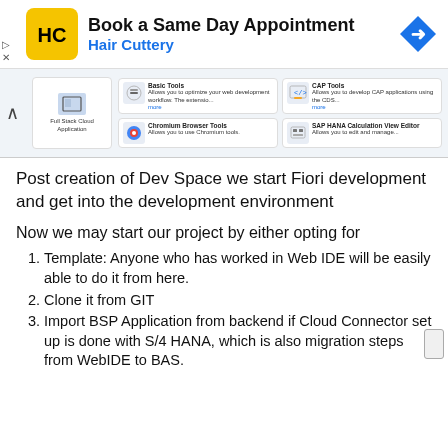[Figure (screenshot): Hair Cuttery advertisement banner: Book a Same Day Appointment with Hair Cuttery logo and navigation arrow icon]
[Figure (screenshot): Screenshot of SAP Business Application Studio Dev Space extension tools selection interface showing Basic Tools, CAP Tools, Chromium Browser Tools, SAP HANA Calculation View Editor, Full Stack Cloud Application, SAP HANA Native Application options]
Post creation of Dev Space we start Fiori development and get into the development environment
Now we may start our project by either opting for
Template: Anyone who has worked in Web IDE will be easily able to do it from here.
Clone it from GIT
Import BSP Application from backend if Cloud Connector set up is done with S/4 HANA, which is also migration steps from WebIDE to BAS.